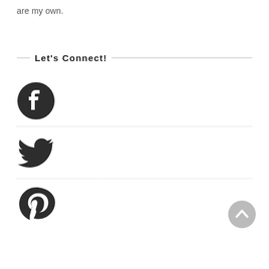are my own.
Let's Connect!
[Figure (illustration): Facebook icon - dark circle with white F letterform]
[Figure (illustration): Twitter bird icon in dark grey]
[Figure (illustration): Pinterest P icon in dark grey]
[Figure (illustration): Back to top button - grey circle with upward chevron]